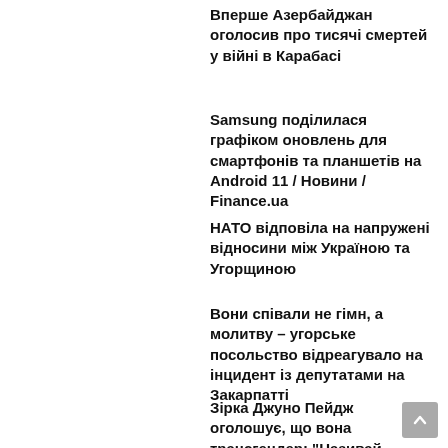Вперше Азербайджан оголосив про тисячі смертей у війні в Карабасі
Samsung поділилася графіком оновлень для смартфонів та планшетів на Android 11 / Новини / Finance.ua
НАТО відповіла на напружені відносини між Україною та Угорщиною
Вони співали не гімн, а молитву – угорське посольство відреагувало на інцидент із депутатами на Закарпатті
Зірка Джуно Пейдж оголошує, що вона трансгендер: "Називай мене Еліот"